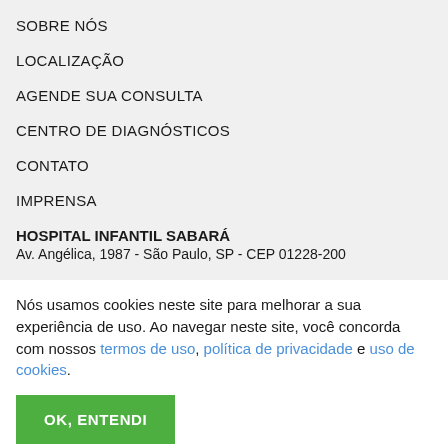SOBRE NÓS
LOCALIZAÇÃO
AGENDE SUA CONSULTA
CENTRO DE DIAGNÓSTICOS
CONTATO
IMPRENSA
HOSPITAL INFANTIL SABARÁ
Av. Angélica, 1987 - São Paulo, SP - CEP 01228-200
Nós usamos cookies neste site para melhorar a sua experiência de uso. Ao navegar neste site, você concorda com nossos termos de uso, política de privacidade e uso de cookies.
OK, ENTENDI